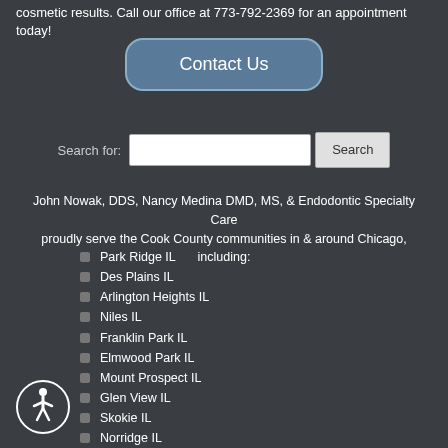cosmetic results. Call our office at 773-792-2369 for an appointment today!
Contact Us
Search for:
John Nowak, DDS, Nancy Medina DMD, MS, & Endodontic Specialty Care proudly serve the Cook County communities in & around Chicago, including:
Park Ridge IL
Des Plains IL
Arlington Heights IL
Niles IL
Franklin Park IL
Elmwood Park IL
Mount Prospect IL
Glen View IL
Skokie IL
Norridge IL